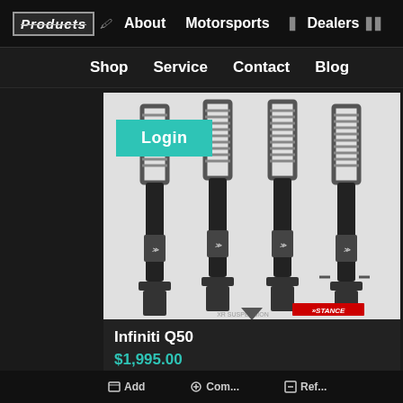Products | About | Motorsports | Dealers
Shop | Service | Contact | Blog
[Figure (photo): Four black coilover suspension units standing upright on white background, with a teal Login button overlay. Stance logo visible bottom right.]
Infiniti Q50
$1,995.00
[Figure (photo): Suspension parts including coil spring, top mount, and shock absorber components on dark background. Application List button overlay on right side.]
Honda Civic E...
$1,995.00